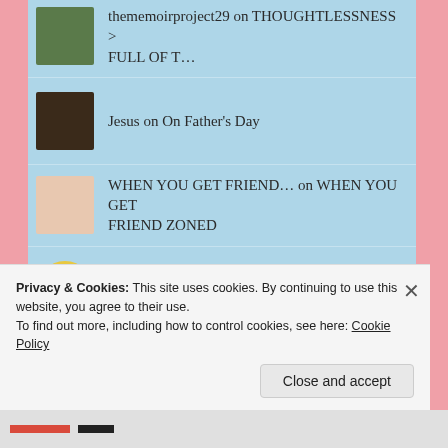thememoirproject29 on THOUGHTLESSNESS > FULL OF T…
Jesus on On Father's Day
WHEN YOU GET FRIEND… on WHEN YOU GET FRIEND ZONED
Dave Kingsbury on On Father's Day
world4womencom on WHEN YOU GET FRIEND ZONED
Privacy & Cookies: This site uses cookies. By continuing to use this website, you agree to their use.
To find out more, including how to control cookies, see here: Cookie Policy
Close and accept